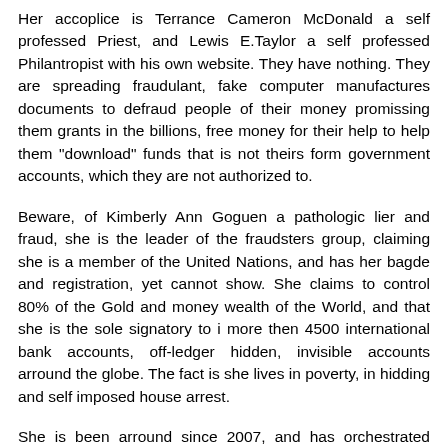Her accoplice is Terrance Cameron McDonald a self professed Priest, and Lewis E.Taylor a self professed Philantropist with his own website. They have nothing. They are spreading fraudulant, fake computer manufactures documents to defraud people of their money promissing them grants in the billions, free money for their help to help them "download" funds that is not theirs form government accounts, which they are not authorized to.
Beware, of Kimberly Ann Goguen a pathologic lier and fraud, she is the leader of the fraudsters group, claiming she is a member of the United Nations, and has her bagde and registration, yet cannot show. She claims to control 80% of the Gold and money wealth of the World, and that she is the sole signatory to i more then 4500 international bank accounts, off-ledger hidden, invisible accounts arround the globe. The fact is she lives in poverty, in hidding and self imposed house arrest.
She is been arround since 2007, and has orchestrated hundreds of scamms where individuals lost hundreds of thousands or millions of dollars falling into her trap. She is